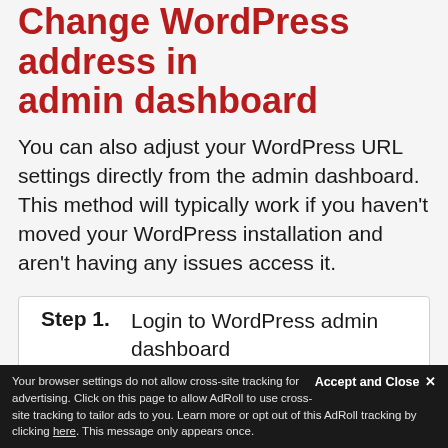Change WordPress address in admin dashboard
You can also adjust your WordPress URL settings directly from the admin dashboard. This method will typically work if you haven't moved your WordPress installation and aren't having any issues access it.
Step 1. Login to WordPress admin dashboard
Step 2. Click on Settings >> General
Step 3. Fill in your WordPress Address and Site Address and click Save
Accept and Close
Your browser settings do not allow cross-site tracking for advertising. Click on this page to allow AdRoll to use cross-site tracking to tailor ads to you. Learn more or opt out of this AdRoll tracking by clicking here. This message only appears once.